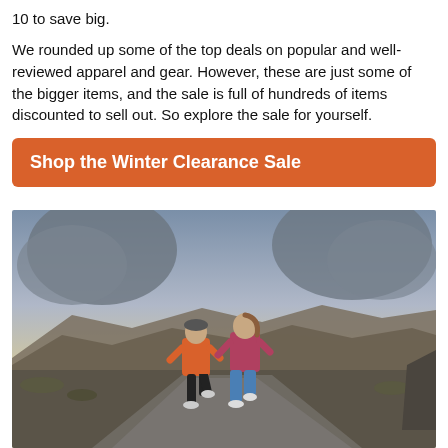10 to save big.
We rounded up some of the top deals on popular and well-reviewed apparel and gear. However, these are just some of the bigger items, and the sale is full of hundreds of items discounted to sell out. So explore the sale for yourself.
Shop the Winter Clearance Sale
[Figure (photo): Two runners jogging on a road at dusk/dawn with dramatic cloudy sky and desert landscape with mountains in the background. The runner in front wears an orange jacket and black shorts; the one behind wears a pink/red jacket and blue capri pants.]